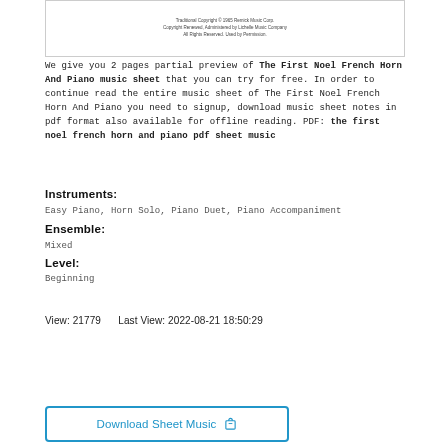[Figure (other): Partial preview of sheet music with copyright notice: Traditional Copyright © 1965 Remick Music Corp. Copyright Renewed, Administered by Unichappell Music Company. All Rights Reserved. Used by Permission.]
We give you 2 pages partial preview of The First Noel French Horn And Piano music sheet that you can try for free. In order to continue read the entire music sheet of The First Noel French Horn And Piano you need to signup, download music sheet notes in pdf format also available for offline reading. PDF: the first noel french horn and piano pdf sheet music
Instruments:
Easy Piano, Horn Solo, Piano Duet, Piano Accompaniment
Ensemble:
Mixed
Level:
Beginning
View: 21779     Last View: 2022-08-21 18:50:29
Download Sheet Music